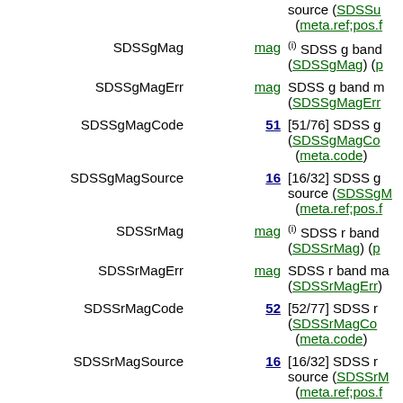| Name | Unit | Description |
| --- | --- | --- |
| SDSSgMag | mag | (i) SDSS g band ... (SDSSgMag) (p... (meta.ref;pos.f... |
| SDSSgMagErr | mag | SDSS g band m... (SDSSgMagErr... |
| SDSSgMagCode | 51 | [51/76] SDSS g... (SDSSgMagCod... (meta.code) |
| SDSSgMagSource | 16 | [16/32] SDSS g source (SDSSgM... (meta.ref;pos.f... |
| SDSSrMag | mag | (i) SDSS r band... (SDSSrMag) (p... |
| SDSSrMagErr | mag | SDSS r band ma... (SDSSrMagErr) |
| SDSSrMagCode | 52 | [52/77] SDSS r... (SDSSrMagCod... (meta.code) |
| SDSSrMagSource | 16 | [16/32] SDSS r source (SDSSrM... (meta.ref;pos.f... |
| SDSSiMag | 12.883 | (i) SDSS i band... |